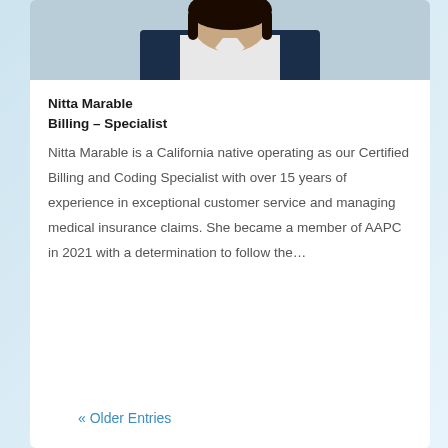[Figure (photo): Headshot photo of Nitta Marable wearing a dark navy blazer over white top, with dark hair, partial view at top of card]
Nitta Marable
Billing – Specialist
Nitta Marable is a California native operating as our Certified Billing and Coding Specialist with over 15 years of experience in exceptional customer service and managing medical insurance claims. She became a member of AAPC in 2021 with a determination to follow the…
« Older Entries